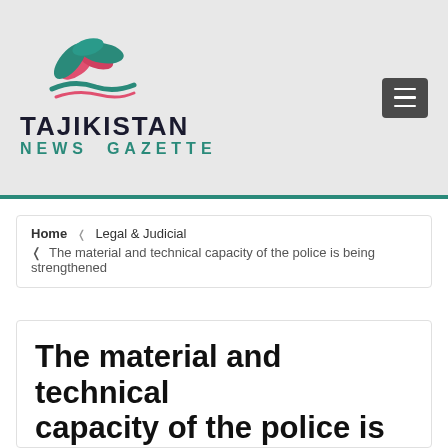[Figure (logo): Tajikistan News Gazette logo with stylized flower/leaf graphic in teal and pink, and bold text 'TAJIKISTAN NEWS GAZETTE']
Home › Legal & Judicial ›  The material and technical capacity of the police is being strengthened
The material and technical capacity of the police is